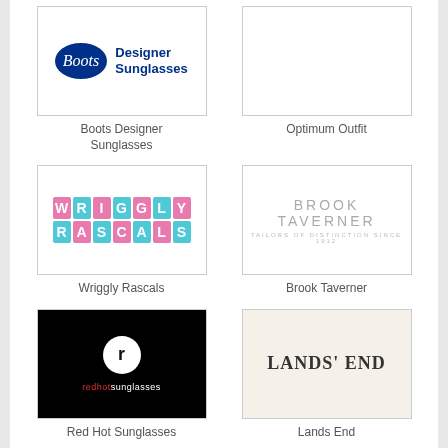[Figure (logo): Boots Designer Sunglasses logo — blue oval with 'Boots' script and bold blue 'Designer Sunglasses' text]
Boots Designer Sunglasses
[Figure (logo): Optimum Outfit — empty white box]
Optimum Outfit
[Figure (logo): Wriggly Rascals logo with colourful block letters in pink and cyan]
Wriggly Rascals
[Figure (logo): Brook Taverner — Tailors of Distinction since 1912, light grey text]
Brook Taverner
[Figure (logo): Red Hot Sunglasses logo — white circle with 'r' on black background, red and white text below]
Red Hot Sunglasses
[Figure (logo): Lands' End logo in bold serif text on cream background]
Lands End